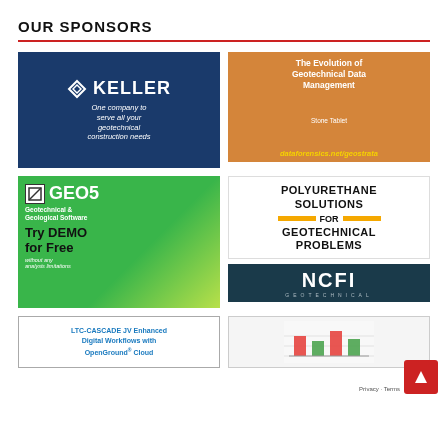OUR SPONSORS
[Figure (illustration): Keller advertisement: dark blue background with Keller logo and text 'One company to serve all your geotechnical construction needs']
[Figure (illustration): Dataforensics advertisement: orange/sunset background with 'The Evolution of Geotechnical Data Management', stone tablet label, and URL dataforensics.net/geostrata]
[Figure (illustration): GEO5 advertisement: green background with GEO5 logo, 'Geotechnical & Geological Software', 'Try DEMO for Free without any analysis limitations']
[Figure (illustration): Polyurethane Solutions for Geotechnical Problems and NCFI Geotechnical advertisement]
[Figure (illustration): LTC-CASCADE JV Enhanced Digital Workflows with OpenGround Cloud advertisement]
[Figure (bar-chart): Partial bar chart visible at bottom right, with colored bars (red, green)]